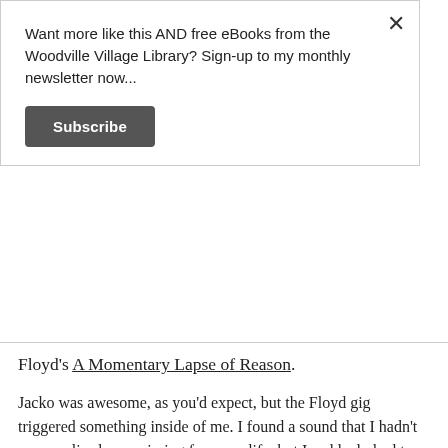Want more like this AND free eBooks from the Woodville Village Library? Sign-up to my monthly newsletter now...
Subscribe
Floyd's A Momentary Lapse of Reason.
Jacko was awesome, as you'd expect, but the Floyd gig triggered something inside of me. I found a sound that I hadn't even realised was missing from my life, but I suddenly had to have more of, immediately. The bigness of Richard Wright's keyboard sounds, the 'ting' of Nick Mason's ride cymbal – a pleasing acoustic noise absent from all the electronica I'd been listening to that summer – and all of this led by David Gilmour's siren-like guitar. And not forgetting Roger Waters' lyrics… Ah,